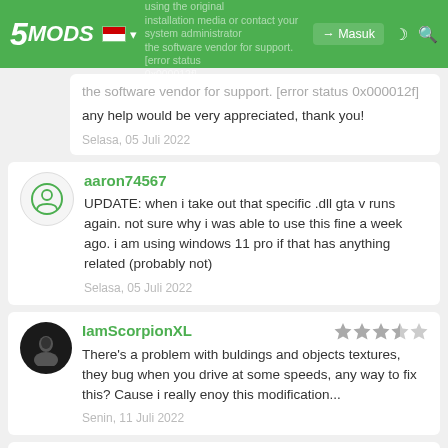5MODS | try installing the program again using the original installation media or contact your system administrator the software vendor for support. [error status 0x000012f] | Masuk
try installing the program again using the original installation media or contact your system administrator the software vendor for support. [error status 0x000012f]
any help would be very appreciated, thank you!
Selasa, 05 Juli 2022
aaron74567
UPDATE: when i take out that specific .dll gta v runs again. not sure why i was able to use this fine a week ago. i am using windows 11 pro if that has anything related (probably not)
Selasa, 05 Juli 2022
IamScorpionXL
There's a problem with buldings and objects textures, they bug when you drive at some speeds, any way to fix this? Cause i really enoy this modification...
Senin, 11 Juli 2022